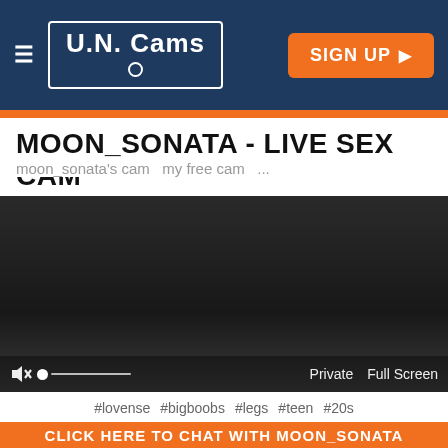U.N. Cams | SIGN UP
MOON_SONATA - LIVE SEX CAM
moon_sonata's cam   my free cam   ...
[Figure (screenshot): Dark video player area with mute icon, volume slider, Private and Full Screen controls]
#lovense  #bigboobs  #legs  #teen  #20s
CLICK HERE TO CHAT WITH MOON_SONATA